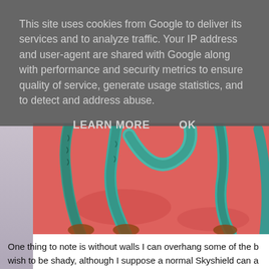This site uses cookies from Google to deliver its services and to analyze traffic. Your IP address and user-agent are shared with Google along with performance and security metrics to ensure quality of service, generate usage statistics, and to detect and address abuse.
LEARN MORE    OK
[Figure (photo): Close-up photo of a painted miniature sculpture with teal/turquoise rope-like limbs and bases on a pink/red background]
One thing to note is without walls I can overhang some of the b wish to be shady, although I suppose a normal Skyshield can a when it unfurls it's walls.
[Figure (photo): Partial photo at bottom showing painted miniature figures on a pink/orange background]